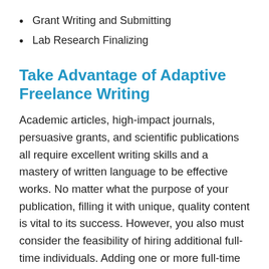Grant Writing and Submitting
Lab Research Finalizing
Take Advantage of Adaptive Freelance Writing
Academic articles, high-impact journals, persuasive grants, and scientific publications all require excellent writing skills and a mastery of written language to be effective works. No matter what the purpose of your publication, filling it with unique, quality content is vital to its success. However, you also must consider the feasibility of hiring additional full-time individuals. Adding one or more full-time writers to your team might not be a viable option. That's where we come in.